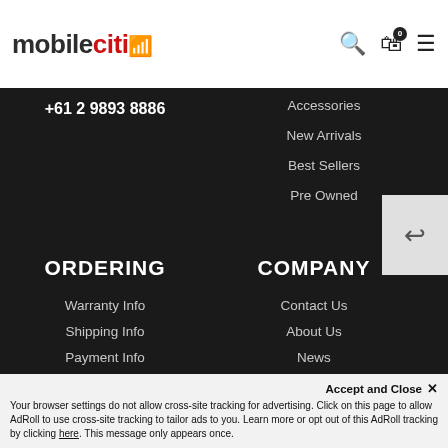mobileciti
+61 2 9893 8886
Accessories
New Arrivals
Best Sellers
Pre Owned
ORDERING
COMPANY
Warranty Info
Shipping Info
Payment Info
Return Policy
Australian Stock
Click & Collect
Contact Us
About Us
News
Become a Supplier
Accept and Close ✕
Your browser settings do not allow cross-site tracking for advertising. Click on this page to allow AdRoll to use cross-site tracking to tailor ads to you. Learn more or opt out of this AdRoll tracking by clicking here. This message only appears once.